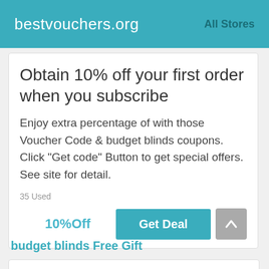bestvouchers.org   All Stores
Obtain 10% off your first order when you subscribe
Enjoy extra percentage of with those Voucher Code & budget blinds coupons. Click "Get code" Button to get special offers. See site for detail.
35 Used
10%Off
Get Deal
budget blinds Free Gift